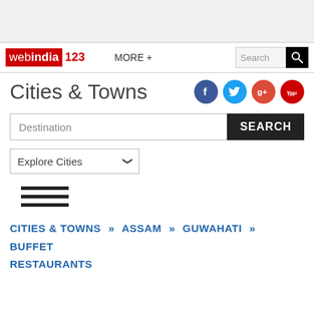webindia123 | MORE + | Search
Cities & Towns
Destination SEARCH
Explore Cities
[Figure (other): Hamburger menu icon (three horizontal lines)]
CITIES & TOWNS >> ASSAM >> GUWAHATI >> BUFFET RESTAURANTS